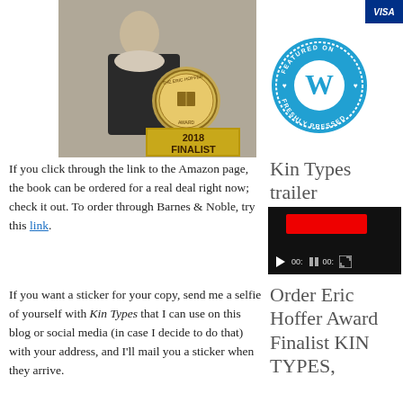[Figure (photo): Book cover photo showing a woman in Victorian dress with an Eric Hoffer Award 2018 Finalist medal overlaid]
[Figure (logo): WordPress Featured on Freshly Pressed blue circular badge]
If you click through the link to the Amazon page, the book can be ordered for a real deal right now; check it out. To order through Barnes & Noble, try this link.
Kin Types trailer
[Figure (screenshot): Video player thumbnail showing a dark background with a red bar and playback controls]
If you want a sticker for your copy, send me a selfie of yourself with Kin Types that I can use on this blog or social media (in case I decide to do that) with your address, and I'll mail you a sticker when they arrive.
Order Eric Hoffer Award Finalist KIN TYPES,